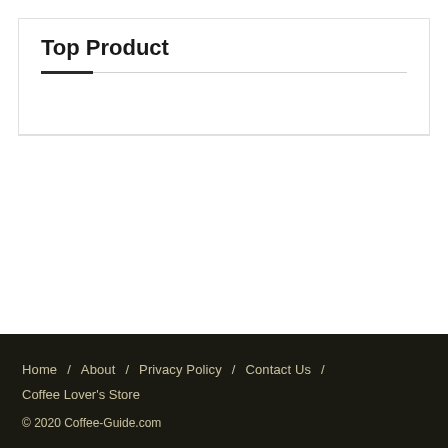Top Product
Home / About / Privacy Policy / Contact Us / Coffee Lover's Store © 2020 Coffee-Guide.com